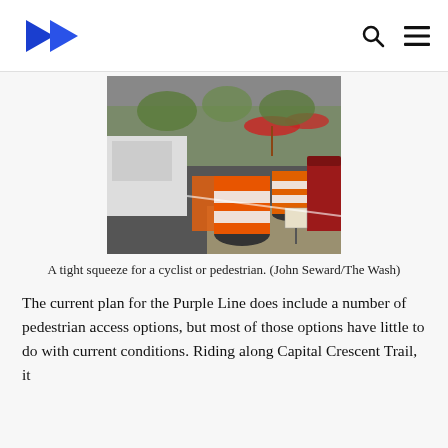The Wash — navigation header with logo, search, and menu icons
[Figure (photo): Street-level construction scene showing orange traffic barrels and orange mesh barrier blocking a sidewalk/bike lane, with a white truck on the left, red umbrellas and trees in the background, and a red trash bin on the right. A small sign is visible near the curb.]
A tight squeeze for a cyclist or pedestrian. (John Seward/The Wash)
The current plan for the Purple Line does include a number of pedestrian access options, but most of those options have little to do with current conditions. Riding along Capital Crescent Trail, it